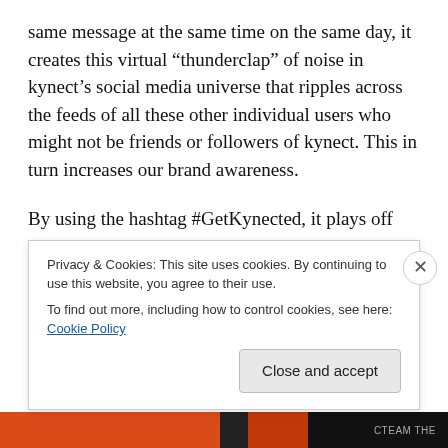same message at the same time on the same day, it creates this virtual “thunderclap” of noise in kynect’s social media universe that ripples across the feeds of all these other individual users who might not be friends or followers of kynect. This in turn increases our brand awareness.
By using the hashtag #GetKynected, it plays off our name and gave me a way to track all users who utilized the hashtag.
In the end between one third and 50 percent of those
Privacy & Cookies: This site uses cookies. By continuing to use this website, you agree to their use.
To find out more, including how to control cookies, see here: Cookie Policy